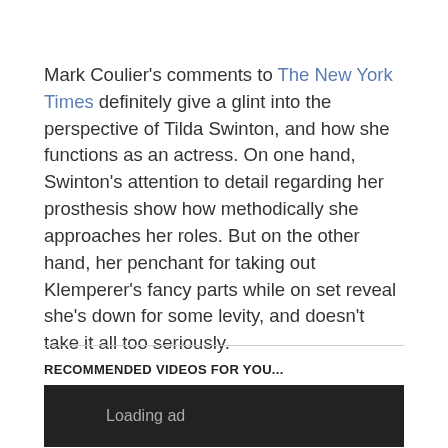Mark Coulier's comments to The New York Times definitely give a glint into the perspective of Tilda Swinton, and how she functions as an actress. On one hand, Swinton's attention to detail regarding her prosthesis show how methodically she approaches her roles. But on the other hand, her penchant for taking out Klemperer's fancy parts while on set reveal she's down for some levity, and doesn't take it all too seriously.
RECOMMENDED VIDEOS FOR YOU...
[Figure (other): Dark rectangle ad loading box with text 'Loading ad']